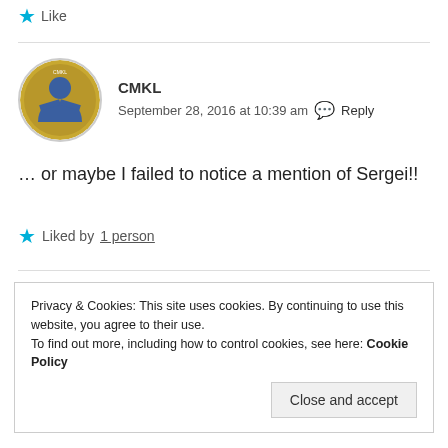Like
CMKL
September 28, 2016 at 10:39 am  Reply
… or maybe I failed to notice a mention of Sergei!!
Liked by 1 person
Privacy & Cookies: This site uses cookies. By continuing to use this website, you agree to their use.
To find out more, including how to control cookies, see here: Cookie Policy
Close and accept